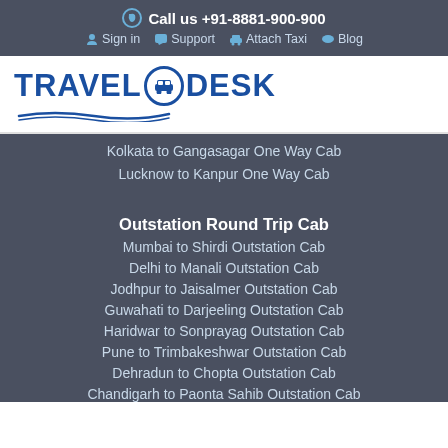Call us +91-8881-900-900
Sign in | Support | Attach Taxi | Blog
[Figure (logo): TravelODesk logo with car icon in circle and wave underline]
Kolkata to Gangasagar One Way Cab
Lucknow to Kanpur One Way Cab
Outstation Round Trip Cab
Mumbai to Shirdi Outstation Cab
Delhi to Manali Outstation Cab
Jodhpur to Jaisalmer Outstation Cab
Guwahati to Darjeeling Outstation Cab
Haridwar to Sonprayag Outstation Cab
Pune to Trimbakeshwar Outstation Cab
Dehradun to Chopta Outstation Cab
Chandigarh to Paonta Sahib Outstation Cab